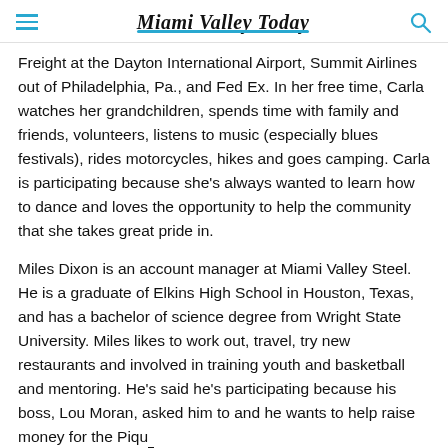Miami Valley Today
Freight at the Dayton International Airport, Summit Airlines out of Philadelphia, Pa., and Fed Ex. In her free time, Carla watches her grandchildren, spends time with family and friends, volunteers, listens to music (especially blues festivals), rides motorcycles, hikes and goes camping. Carla is participating because she's always wanted to learn how to dance and loves the opportunity to help the community that she takes great pride in.
Miles Dixon is an account manager at Miami Valley Steel. He is a graduate of Elkins High School in Houston, Texas, and has a bachelor of science degree from Wright State University. Miles likes to work out, travel, try new restaurants and involved in training youth and basketball and mentoring. He's said he's participating because his boss, Lou Moran, asked him to and he wants to help raise money for the Piqua